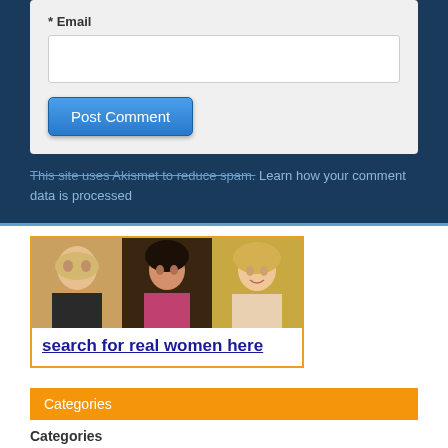* Email
[Figure (screenshot): Email input field (white text box)]
[Figure (screenshot): Post Comment button (blue)]
This site uses Akismet to reduce spam. Learn how your comment data is processed
[Figure (photo): Advertisement with three women photos and text 'search for real women here']
Categories
Categories
[Figure (screenshot): Select Category dropdown]